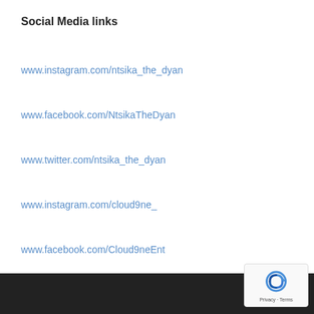Social Media links
www.instagram.com/ntsika_the_dyan
www.facebook.com/NtsikaTheDyan
www.twitter.com/ntsika_the_dyan
www.instagram.com/cloud9ne_
www.facebook.com/Cloud9neEnt